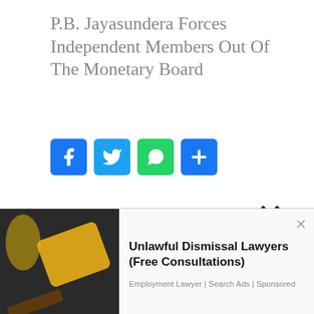P.B. Jayasundera Forces Independent Members Out Of The Monetary Board
[Figure (infographic): Social share buttons: Facebook (blue), Twitter (blue), WhatsApp (green), Share (blue)]
President Gotabaya Rajapaksa has forced out independent members of the Monetary Board of Sri Lanka with over two years left in their term Colombo Telegraph learns.
Colombo Telegraph is reliably informed that two highly respected non-executive members
[Figure (infographic): Advertisement banner overlay with close X button]
[Figure (infographic): Bottom advertisement: Unlawful Dismissal Lawyers (Free Consultations) - Employment Lawyer | Search Ads | Sponsored, with image of gavel and hard hat]